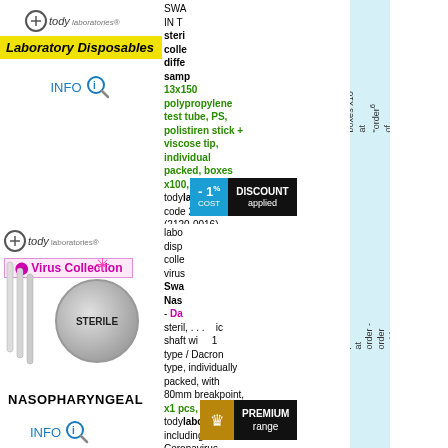[Figure (logo): Tody Laboratories logo with Laboratory Disposables yellow badge]
SWAB IN THE sterile collection different sample 13x150mm polypropylene test tube, PS, polistiren stick + viscose tip, individual packed, boxes x100, todylaboratories®, code 2120-0024 (2120-0016)
[Figure (infographic): - 1% DISCOUNT COST applied badge]
[Figure (logo): Tody Laboratories Virus Collection logo with STERILE circle and NASOPHARYNGEAL label]
laboratory disposables collection virus Swab Nasopharyngeal - Dacron steril... plastic shaft with breakpoint type / Dacron type, individually packed, with 80mm breakpoint, x1 pcs, todylaboratories®, including Coronavirus, qqqq, code 2123-1003 -1
[Figure (infographic): PREMIUM PRICE range badge]